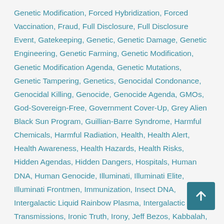Genetic Modification, Forced Hybridization, Forced Vaccination, Fraud, Full Disclosure, Full Disclosure Event, Gatekeeping, Genetic, Genetic Damage, Genetic Engineering, Genetic Farming, Genetic Modification, Genetic Modification Agenda, Genetic Mutations, Genetic Tampering, Genetics, Genocidal Condonance, Genocidal Killing, Genocide, Genocide Agenda, GMOs, God-Sovereign-Free, Government Cover-Up, Grey Alien Black Sun Program, Guillian-Barre Syndrome, Harmful Chemicals, Harmful Radiation, Health, Health Alert, Health Awareness, Health Hazards, Health Risks, Hidden Agendas, Hidden Dangers, Hospitals, Human DNA, Human Genocide, Illuminati, Illuminati Elite, Illuminati Frontmen, Immunization, Insect DNA, Intergalactic Liquid Rainbow Plasma, Intergalactic Transmissions, Ironic Truth, Irony, Jeff Bezos, Kabbalah, Liquid Plasma Light, Liquid Rainbow Plasma, Lisa Renee, Mafia, Mafia Connections, Mainstream Media Propaganda, March 2019, March Equinox, Matrix Controllers, Media Censorship, Medical Cartel, Medical Science, Mercury, Mercury Poisoning, Military Operations